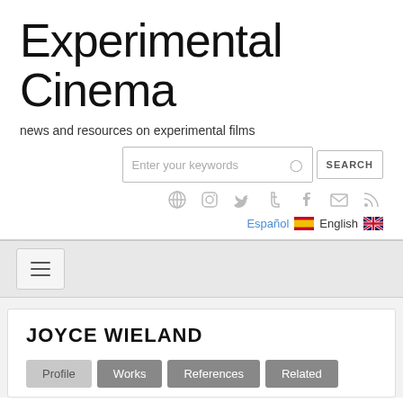Experimental Cinema
news and resources on experimental films
[Figure (screenshot): Search bar with placeholder 'Enter your keywords' and a SEARCH button]
[Figure (infographic): Row of social media icons: globe, Instagram, Twitter, Tumblr, Facebook, email, RSS]
Español  English
[Figure (screenshot): Hamburger menu button with three horizontal lines]
JOYCE WIELAND
Profile  Works  References  Related